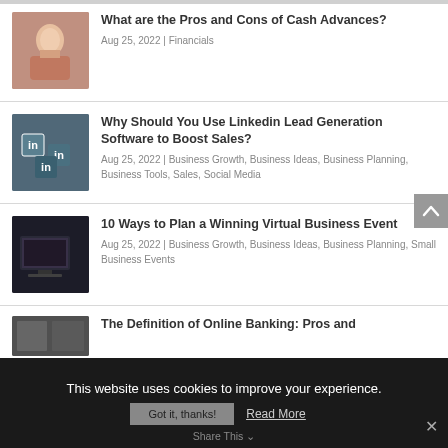[Figure (illustration): Thumbnail of woman holding cash fan]
What are the Pros and Cons of Cash Advances?
Aug 25, 2022 | Financials
[Figure (photo): LinkedIn logo cubes thumbnail]
Why Should You Use Linkedin Lead Generation Software to Boost Sales?
Aug 25, 2022 | Business Growth, Business Ideas, Business Planning, Business Tools, Sales, Social Media
[Figure (photo): Laptop with virtual event thumbnail]
10 Ways to Plan a Winning Virtual Business Event
Aug 25, 2022 | Business Growth, Business Ideas, Business Planning, Small Business Events
[Figure (photo): Online banking article thumbnail]
The Definition of Online Banking: Pros and
This website uses cookies to improve your experience.
Got it, thanks!  Read More
Share This